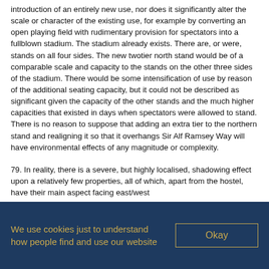introduction of an entirely new use, nor does it significantly alter the scale or character of the existing use, for example by converting an open playing field with rudimentary provision for spectators into a fullblown stadium. The stadium already exists. There are, or were, stands on all four sides. The new twotier north stand would be of a comparable scale and capacity to the stands on the other three sides of the stadium. There would be some intensification of use by reason of the additional seating capacity, but it could not be described as significant given the capacity of the other stands and the much higher capacities that existed in days when spectators were allowed to stand. There is no reason to suppose that adding an extra tier to the northern stand and realigning it so that it overhangs Sir Alf Ramsey Way will have environmental effects of any magnitude or complexity.
79. In reality, there is a severe, but highly localised, shadowing effect upon a relatively few properties, all of which, apart from the hostel, have their main aspect facing east/west
We use cookies just to understand how people find and use our website
Okay